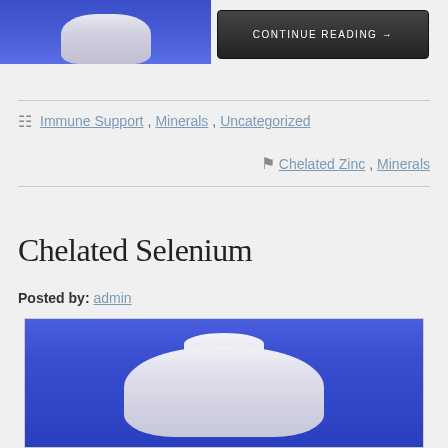[Figure (photo): Top portion of a supplement bottle with blue background, partially cropped]
CONTINUE READING →
Immune Support, Minerals, Uncategorized
Chelated Zinc, Minerals
Chelated Selenium
Posted by: admin
[Figure (photo): Supplement bottle photo with blue background, white bottle visible, partially cropped at bottom of page]